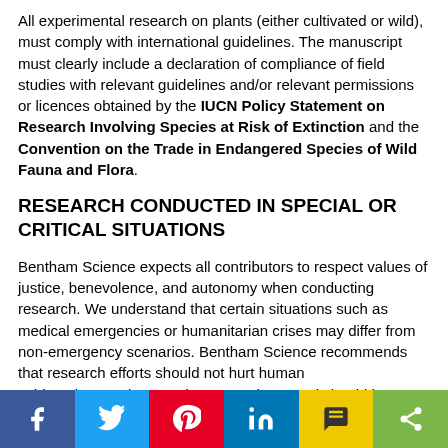All experimental research on plants (either cultivated or wild), must comply with international guidelines. The manuscript must clearly include a declaration of compliance of field studies with relevant guidelines and/or relevant permissions or licences obtained by the IUCN Policy Statement on Research Involving Species at Risk of Extinction and the Convention on the Trade in Endangered Species of Wild Fauna and Flora.
RESEARCH CONDUCTED IN SPECIAL OR CRITICAL SITUATIONS
Bentham Science expects all contributors to respect values of justice, benevolence, and autonomy when conducting research. We understand that certain situations such as medical emergencies or humanitarian crises may differ from non-emergency scenarios. Bentham Science recommends that research efforts should not hurt human subjects/respondents or the researchers, and should be conducted with sufficient scientific rigor as permissible in these situations, respectively. Care should be taken to address potential problems faced by persons who may be victims of disasters or involved in a medical emergency. These are vulnerable individuals and their privacy and dignity should
[Figure (infographic): Social sharing bar with Facebook, Twitter, Pinterest, LinkedIn, SMS, and Share buttons]